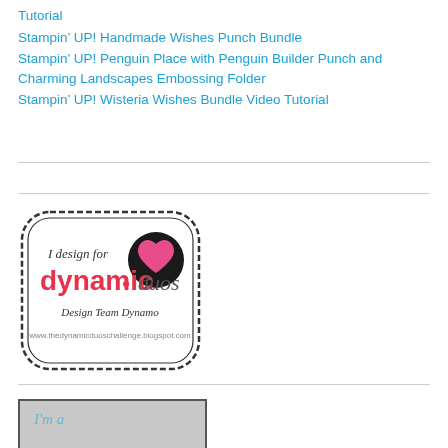Tutorial
Stampin’ UP! Handmade Wishes Punch Bundle
Stampin’ UP! Penguin Place with Penguin Builder Punch and Charming Landscapes Embossing Folder
Stampin’ UP! Wisteria Wishes Bundle Video Tutorial
[Figure (logo): I design for dynamic duos Design Team Dynamo badge with heart logo and website URL www.thedynamicduoschallenge.blogspot.com]
[Figure (illustration): Partially visible image with cursive text 'I'm a' in teal and large bold text 'FRIDAY' below, brown/dark color scheme]